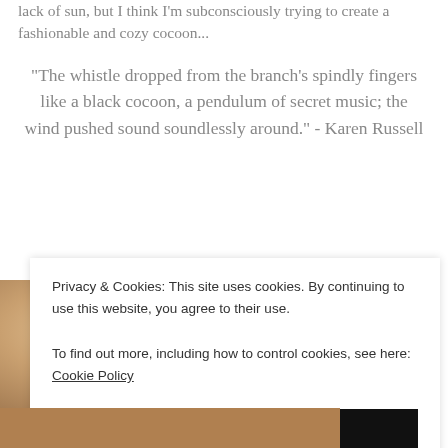lack of sun, but I think I'm subconsciously trying to create a fashionable and cozy cocoon...
“The whistle dropped from the branch’s spindly fingers like a black cocoon, a pendulum of secret music; the wind pushed sound soundlessly around.” - Karen Russell
[Figure (photo): Partial view of a person with blonde hair, upper portion of photo visible behind cookie consent overlay]
Privacy & Cookies: This site uses cookies. By continuing to use this website, you agree to their use.
To find out more, including how to control cookies, see here: Cookie Policy
Close and accept
[Figure (photo): Lower portion of a photo visible below the cookie consent overlay]